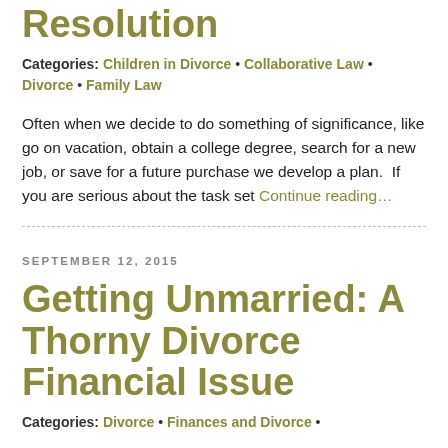Resolution
Categories: Children in Divorce • Collaborative Law • Divorce • Family Law
Often when we decide to do something of significance, like go on vacation, obtain a college degree, search for a new job, or save for a future purchase we develop a plan.  If you are serious about the task set Continue reading…
SEPTEMBER 12, 2015
Getting Unmarried: A Thorny Divorce Financial Issue
Categories: Divorce • Finances and Divorce •